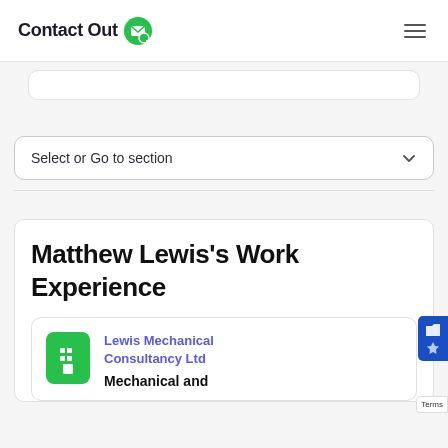ContactOut
Select or Go to section
Matthew Lewis's Work Experience
Lewis Mechanical Consultancy Ltd
Mechanical and